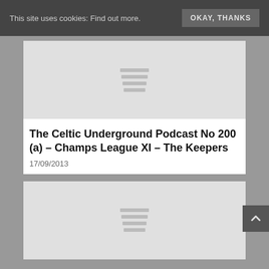This site uses cookies: Find out more. OKAY, THANKS
[Figure (screenshot): Gray placeholder image with hamburger menu icon lines in the center (top image)]
The Celtic Underground Podcast No 200 (a) – Champs League XI – The Keepers
17/09/2013
[Figure (screenshot): Gray placeholder image with hamburger menu icon lines in the center (bottom image)]